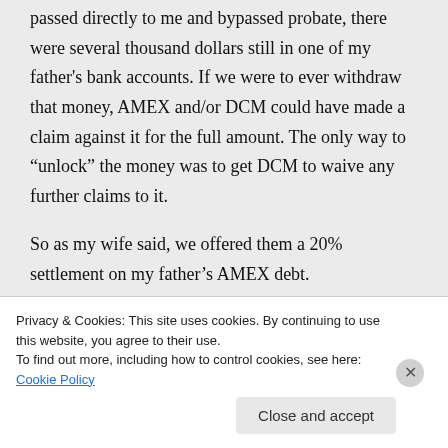passed directly to me and bypassed probate, there were several thousand dollars still in one of my father's bank accounts. If we were to ever withdraw that money, AMEX and/or DCM could have made a claim against it for the full amount. The only way to "unlock" the money was to get DCM to waive any further claims to it.

So as my wife said, we offered them a 20% settlement on my father's AMEX debt.
Privacy & Cookies: This site uses cookies. By continuing to use this website, you agree to their use.
To find out more, including how to control cookies, see here: Cookie Policy